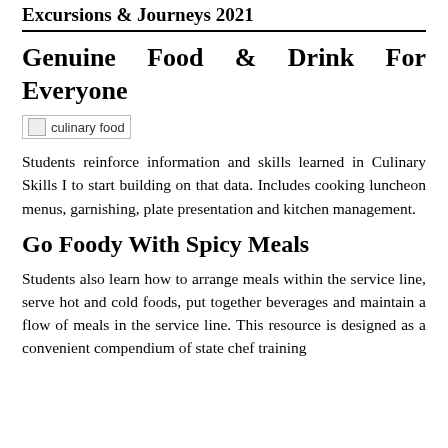Excursions & Journeys 2021
Genuine Food & Drink For Everyone
[Figure (photo): Broken image placeholder labeled 'culinary food']
Students reinforce information and skills learned in Culinary Skills I to start building on that data. Includes cooking luncheon menus, garnishing, plate presentation and kitchen management.
Go Foody With Spicy Meals
Students also learn how to arrange meals within the service line, serve hot and cold foods, put together beverages and maintain a flow of meals in the service line. This resource is designed as a convenient compendium of state chef training...